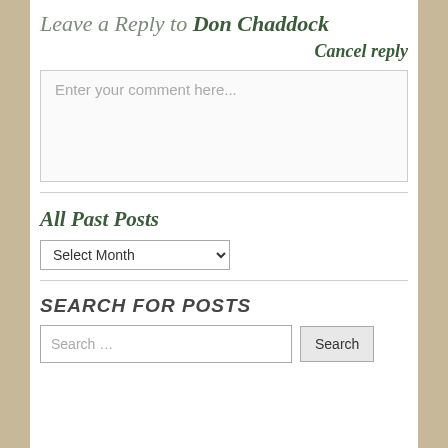Leave a Reply to Don Chaddock
Cancel reply
Enter your comment here...
All Past Posts
Select Month
SEARCH FOR POSTS
Search …